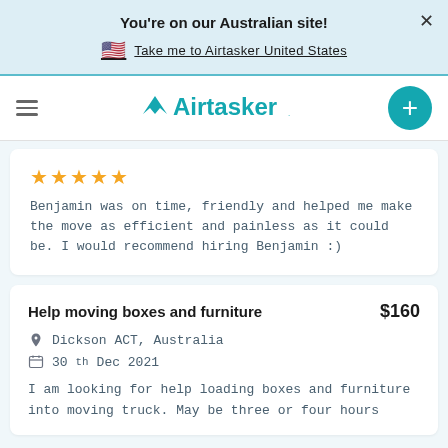You're on our Australian site!
🇺🇸 Take me to Airtasker United States
[Figure (logo): Airtasker logo with teal wingding icon and wordmark]
★★★★★
Benjamin was on time, friendly and helped me make the move as efficient and painless as it could be. I would recommend hiring Benjamin :)
Help moving boxes and furniture   $160
Dickson ACT, Australia
30th Dec 2021
I am looking for help loading boxes and furniture into moving truck. May be three or four hours